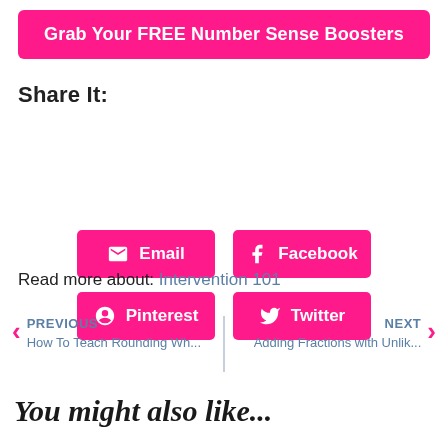Grab Your FREE Number Sense Boosters
Share It:
[Figure (other): Social share buttons: Email, Facebook, Pinterest, Twitter]
Read more about: Intervention 101
PREVIOUS How To Teach Rounding Wh...
NEXT Adding Fractions with Unlik...
You might also like...